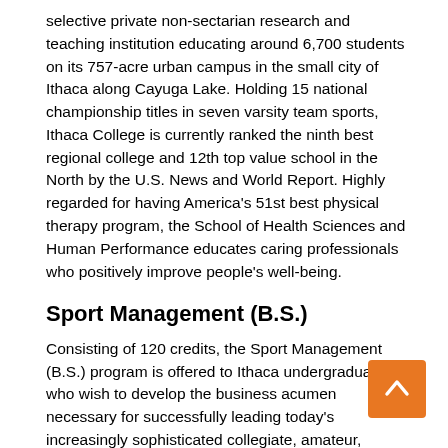selective private non-sectarian research and teaching institution educating around 6,700 students on its 757-acre urban campus in the small city of Ithaca along Cayuga Lake. Holding 15 national championship titles in seven varsity team sports, Ithaca College is currently ranked the ninth best regional college and 12th top value school in the North by the U.S. News and World Report. Highly regarded for having America's 51st best physical therapy program, the School of Health Sciences and Human Performance educates caring professionals who positively improve people's well-being.
Sport Management (B.S.)
Consisting of 120 credits, the Sport Management (B.S.) program is offered to Ithaca undergraduates who wish to develop the business acumen necessary for successfully leading today's increasingly sophisticated collegiate, amateur, and/or professional sports clubs. The interdisciplinary curriculum addresses all social, ethical, economic, legal, political factors affecting the growing sports industry. In the